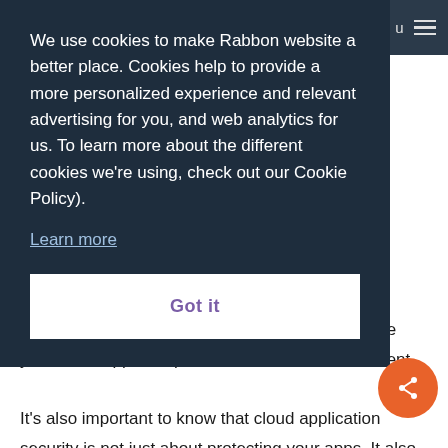u ≡
We use cookies to make Rabbon website a better place. Cookies help to provide a more personalized experience and relevant advertising for you, and web analytics for us. To learn more about the different cookies we're using, check out our Cookie Policy).
Learn more
Got it
in mind when it comes to cloud security. It's where your cloud apps are placed in a secure environment. It's also important to know that cloud application security is not just about protecting your apps. It also encompasses the protection of the data, the